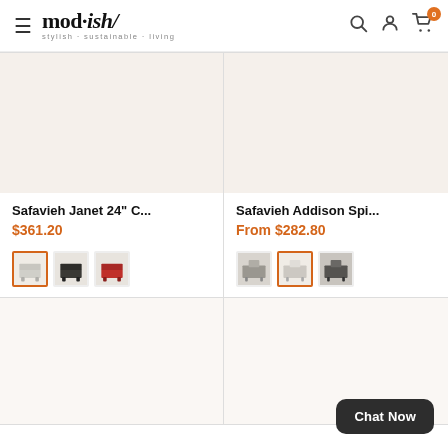[Figure (logo): mod.ish/ logo with tagline 'stylish·sustainable·living']
[Figure (photo): Product image area for Safavieh Janet 24" C... chair, beige/white background]
Safavieh Janet 24" C...
$361.20
[Figure (photo): Three color swatches for Janet chair: white/selected, dark/charcoal, red]
[Figure (photo): Product image area for Safavieh Addison Spi... chair, beige/white background]
Safavieh Addison Spi...
From $282.80
[Figure (photo): Three color swatches for Addison chair: grey, white/selected, dark grey]
Chat Now